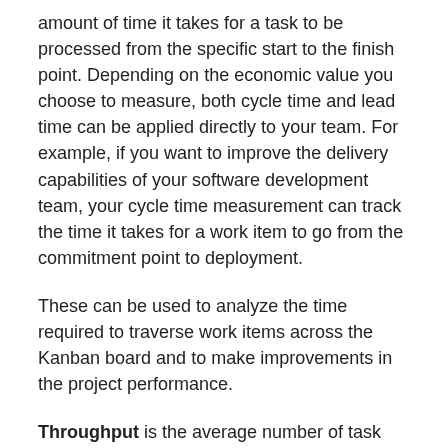amount of time it takes for a task to be processed from the specific start to the finish point. Depending on the economic value you choose to measure, both cycle time and lead time can be applied directly to your team. For example, if you want to improve the delivery capabilities of your software development team, your cycle time measurement can track the time it takes for a work item to go from the commitment point to deployment.
These can be used to analyze the time required to traverse work items across the Kanban board and to make improvements in the project performance.
Throughput is the average number of task units processed per time unit. In a Kanban system, examples can include “cards per day” or “story points